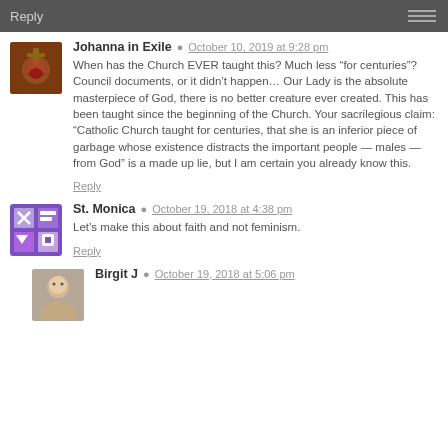Reply
Johanna in Exile  October 10, 2019 at 9:28 pm
When has the Church EVER taught this? Much less “for centuries”? Council documents, or it didn’t happen… Our Lady is the absolute masterpiece of God, there is no better creature ever created. This has been taught since the beginning of the Church. Your sacrilegious claim: “Catholic Church taught for centuries, that she is an inferior piece of garbage whose existence distracts the important people — males — from God” is a made up lie, but I am certain you already know this.
Reply
St. Monica  October 19, 2018 at 4:38 pm
Let’s make this about faith and not feminism.
Reply
Birgit J  October 19, 2018 at 5:06 pm